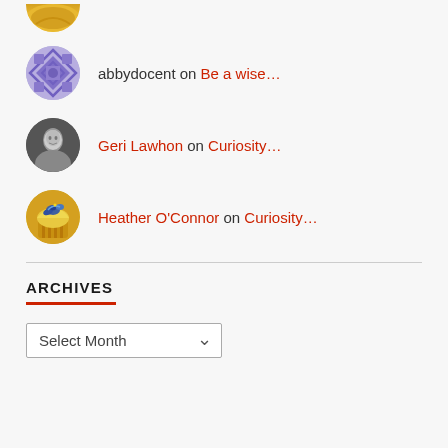[Figure (photo): Partial cupcake avatar cropped at top]
abbydocent on Be a wise…
Geri Lawhon on Curiosity…
Heather O'Connor on Curiosity…
ARCHIVES
Select Month (dropdown)